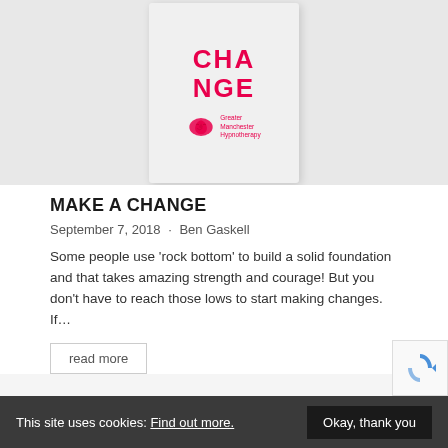[Figure (illustration): Book/card cover showing 'CHA NGE' in bold red text with Greater Manchester Hypnotherapy brain logo, on a light grey background]
MAKE A CHANGE
September 7, 2018 · Ben Gaskell
Some people use 'rock bottom' to build a solid foundation and that takes amazing strength and courage! But you don't have to reach those lows to start making changes. If…
read more
This site uses cookies: Find out more. Okay, thank you